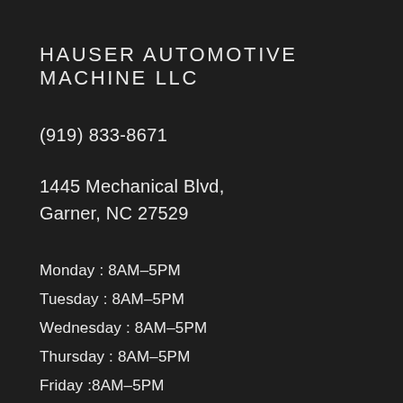HAUSER AUTOMOTIVE MACHINE LLC
(919) 833-8671
1445 Mechanical Blvd,
Garner, NC 27529
Monday : 8AM–5PM
Tuesday : 8AM–5PM
Wednesday : 8AM–5PM
Thursday : 8AM–5PM
Friday :8AM–5PM
Saturday APPT ONLY